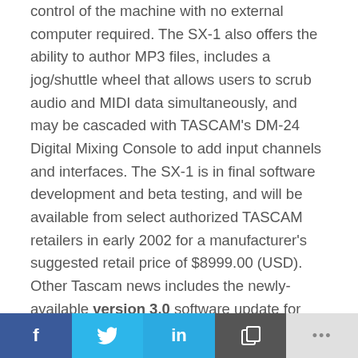control of the machine with no external computer required. The SX-1 also offers the ability to author MP3 files, includes a jog/shuttle wheel that allows users to scrub audio and MIDI data simultaneously, and may be cascaded with TASCAM's DM-24 Digital Mixing Console to add input channels and interfaces. The SX-1 is in final software development and beta testing, and will be available from select authorized TASCAM retailers in early 2002 for a manufacturer's suggested retail price of $8999.00 (USD). Other Tascam news includes the newly-available version 3.0 software update for their MX-2424 featuring the new MX-View sample level waveform editing interface. The v3 software also adds new features and functions including Mix Mode which
f  [twitter bird]  in  [copy icon]  ...